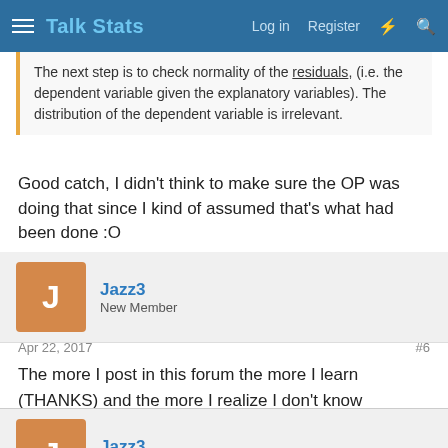Talk Stats — Log in  Register
The next step is to check normality of the residuals, (i.e. the dependent variable given the explanatory variables). The distribution of the dependent variable is irrelevant.
Good catch, I didn't think to make sure the OP was doing that since I kind of assumed that's what had been done :O
Jazz3
New Member
Apr 22, 2017
#6
The more I post in this forum the more I learn (THANKS) and the more I realize I don't know anything 😱 (CRIES)

I'm on my way out, but I will definitely go over everything
Jazz3
New Member